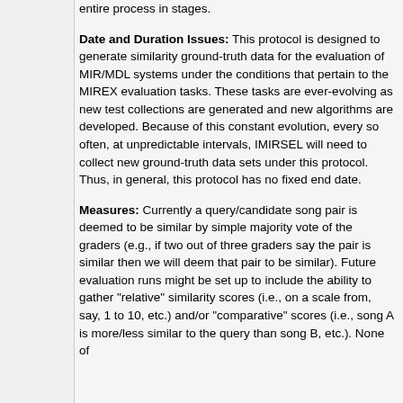entire process in stages.
Date and Duration Issues: This protocol is designed to generate similarity ground-truth data for the evaluation of MIR/MDL systems under the conditions that pertain to the MIREX evaluation tasks. These tasks are ever-evolving as new test collections are generated and new algorithms are developed. Because of this constant evolution, every so often, at unpredictable intervals, IMIRSEL will need to collect new ground-truth data sets under this protocol. Thus, in general, this protocol has no fixed end date.
Measures: Currently a query/candidate song pair is deemed to be similar by simple majority vote of the graders (e.g., if two out of three graders say the pair is similar then we will deem that pair to be similar). Future evaluation runs might be set up to include the ability to gather "relative" similarity scores (i.e., on a scale from, say, 1 to 10, etc.) and/or "comparative" scores (i.e., song A is more/less similar to the query than song B, etc.). None of